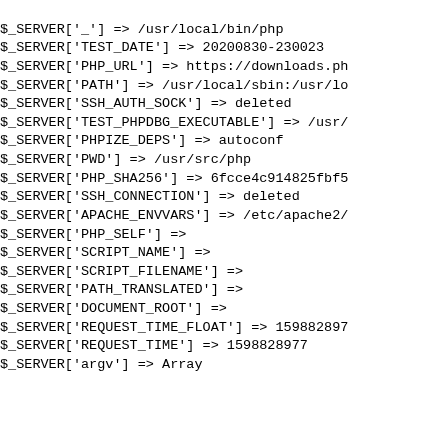$_SERVER['_'] => /usr/local/bin/php
$_SERVER['TEST_DATE'] => 20200830-230023
$_SERVER['PHP_URL'] => https://downloads.ph
$_SERVER['PATH'] => /usr/local/sbin:/usr/lo
$_SERVER['SSH_AUTH_SOCK'] => deleted
$_SERVER['TEST_PHPDBG_EXECUTABLE'] => /usr/
$_SERVER['PHPIZE_DEPS'] => autoconf
$_SERVER['PWD'] => /usr/src/php
$_SERVER['PHP_SHA256'] => 6fcce4c914825fbf5
$_SERVER['SSH_CONNECTION'] => deleted
$_SERVER['APACHE_ENVVARS'] => /etc/apache2/
$_SERVER['PHP_SELF'] =>
$_SERVER['SCRIPT_NAME'] =>
$_SERVER['SCRIPT_FILENAME'] =>
$_SERVER['PATH_TRANSLATED'] =>
$_SERVER['DOCUMENT_ROOT'] =>
$_SERVER['REQUEST_TIME_FLOAT'] => 159882897
$_SERVER['REQUEST_TIME'] => 1598828977
$_SERVER['argv'] => Array